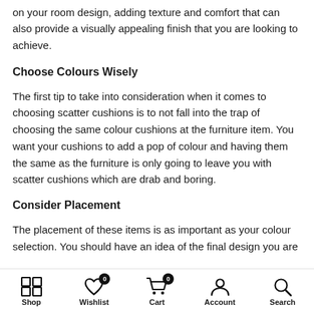on your room design, adding texture and comfort that can also provide a visually appealing finish that you are looking to achieve.
Choose Colours Wisely
The first tip to take into consideration when it comes to choosing scatter cushions is to not fall into the trap of choosing the same colour cushions at the furniture item. You want your cushions to add a pop of colour and having them the same as the furniture is only going to leave you with scatter cushions which are drab and boring.
Consider Placement
The placement of these items is as important as your colour selection. You should have an idea of the final design you are
Shop  Wishlist  Cart  Account  Search